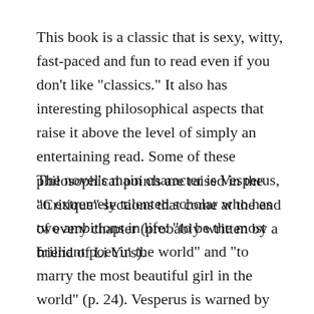This book is a classic that is sexy, witty, fast-paced and fun to read even if you don’t like “classics.” It also has interesting philosophical aspects that raise it above the level of simply an entertaining read. Some of these philosophical points are raised in the “Critique” sections that come at the end of every chapter (probably written by a friend of Li Yu’s).
The novel’s main character is Vesperus, an extremely talented scholar who has two ambitions in life: “to be the most brilliant poet in the world” and “to marry the most beautiful girl in the world” (p. 24). Vesperus is warned by the Buddhist monk Lone Peak that this second quest